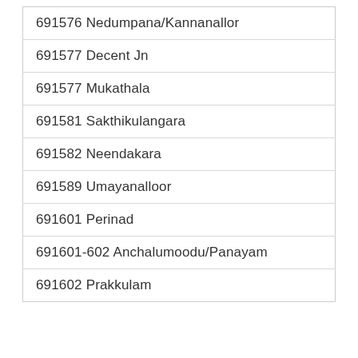| 691576 Nedumpana/Kannanallor |
| 691577 Decent Jn |
| 691577 Mukathala |
| 691581 Sakthikulangara |
| 691582 Neendakara |
| 691589 Umayanalloor |
| 691601 Perinad |
| 691601-602 Anchalumoodu/Panayam |
| 691602 Prakkulam |